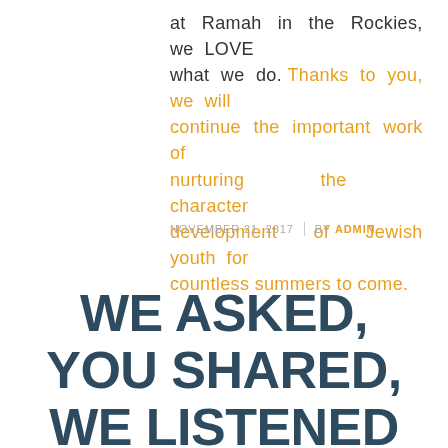at Ramah in the Rockies, we LOVE what we do. Thanks to you, we will continue the important work of nurturing the character development of Jewish youth for countless summers to come.
NOVEMBER 21, 2017  |  BY ADMIN
WE ASKED, YOU SHARED, WE LISTENED